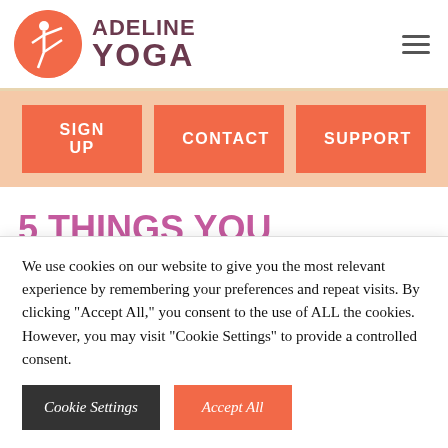[Figure (logo): Adeline Yoga logo with orange circle containing white yoga figure silhouette and text 'ADELINE YOGA' in dark purple]
SIGN UP
CONTACT
SUPPORT
5 THINGS YOU SHOULD KNOW ABOUT IYENGAR YOGA
We use cookies on our website to give you the most relevant experience by remembering your preferences and repeat visits. By clicking "Accept All," you consent to the use of ALL the cookies. However, you may visit "Cookie Settings" to provide a controlled consent.
Cookie Settings
Accept All